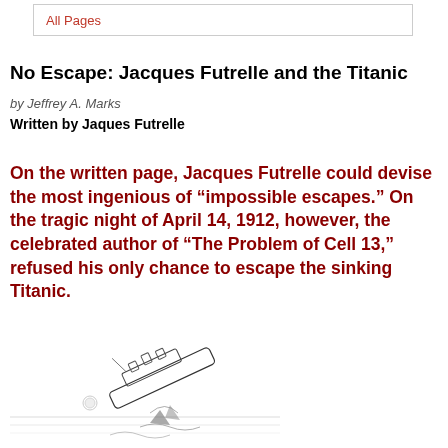All Pages
No Escape: Jacques Futrelle and the Titanic
by Jeffrey A. Marks
Written by Jaques Futrelle
On the written page, Jacques Futrelle could devise the most ingenious of “impossible escapes.” On the tragic night of April 14, 1912, however, the celebrated author of “The Problem of Cell 13,” refused his only chance to escape the sinking Titanic.
[Figure (illustration): Pencil sketch illustration of the Titanic sinking, showing the ship tilting into the ocean with debris and waves.]